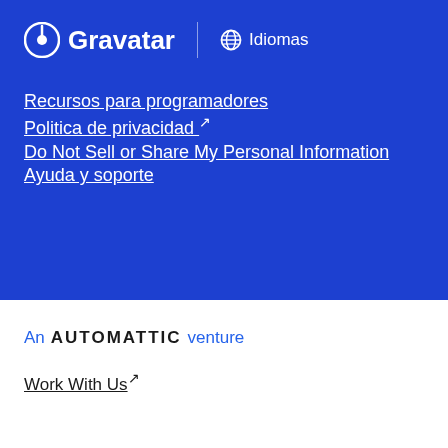Gravatar | Idiomas
Recursos para programadores
Politica de privacidad ↗
Do Not Sell or Share My Personal Information
Ayuda y soporte
An AUTOMATTIC venture
Work With Us ↗